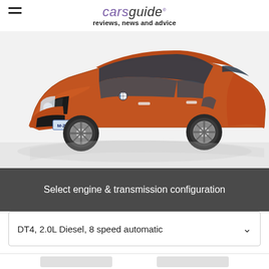carsguide reviews, news and advice
[Figure (photo): Orange BMW 1 Series hatchback with license plate M ZH 5029, photographed from a three-quarter front angle on a white background with reflection.]
Select engine & transmission configuration
DT4, 2.0L Diesel, 8 speed automatic